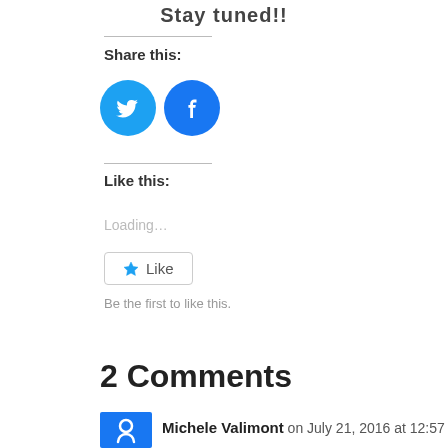Stay tuned!!
Share this:
[Figure (illustration): Twitter and Facebook social share buttons as blue circles with white icons]
Like this:
Loading...
[Figure (illustration): WordPress Like button with star icon]
Be the first to like this.
2 Comments
Michele Valimont on July 21, 2016 at 12:57 pm